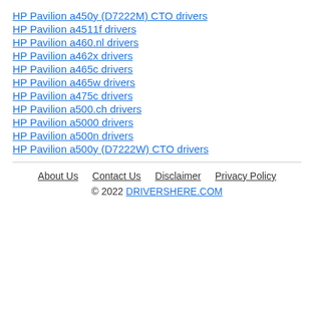HP Pavilion a450y (D7222M) CTO drivers
HP Pavilion a4511f drivers
HP Pavilion a460.nl drivers
HP Pavilion a462x drivers
HP Pavilion a465c drivers
HP Pavilion a465w drivers
HP Pavilion a475c drivers
HP Pavilion a500.ch drivers
HP Pavilion a5000 drivers
HP Pavilion a500n drivers
HP Pavilion a500y (D7222W) CTO drivers
About Us   Contact Us   Disclaimer   Privacy Policy
© 2022 DRIVERSHERE.COM